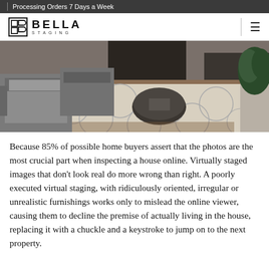Processing Orders 7 Days a Week
[Figure (logo): Bella Staging logo with stylized B icon and text BELLA STAGING]
[Figure (photo): Interior living room photo showing two grey armchairs, a patterned cream rug, round coffee table, fireplace, and a white planter with greenery]
Because 85% of possible home buyers assert that the photos are the most crucial part when inspecting a house online. Virtually staged images that don't look real do more wrong than right. A poorly executed virtual staging, with ridiculously oriented, irregular or unrealistic furnishings works only to mislead the online viewer, causing them to decline the premise of actually living in the house, replacing it with a chuckle and a keystroke to jump on to the next property.